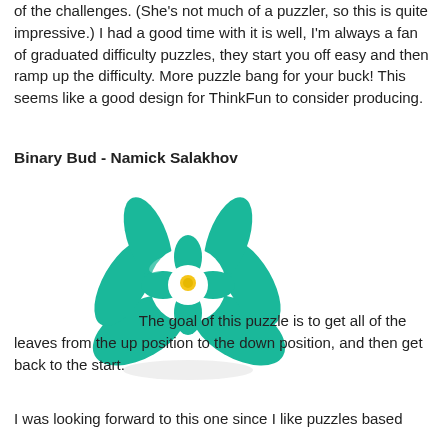of the challenges. (She's not much of a puzzler, so this is quite impressive.) I had a good time with it is well, I'm always a fan of graduated difficulty puzzles, they start you off easy and then ramp up the difficulty. More puzzle bang for your buck! This seems like a good design for ThinkFun to consider producing.
Binary Bud - Namick Salakhov
[Figure (photo): A green and white interlocking puzzle toy called Binary Bud, resembling a flower or bud shape with teal/green curved pieces and a small yellow center piece on a white background.]
The goal of this puzzle is to get all of the leaves from the up position to the down position, and then get back to the start.
I was looking forward to this one since I like puzzles based